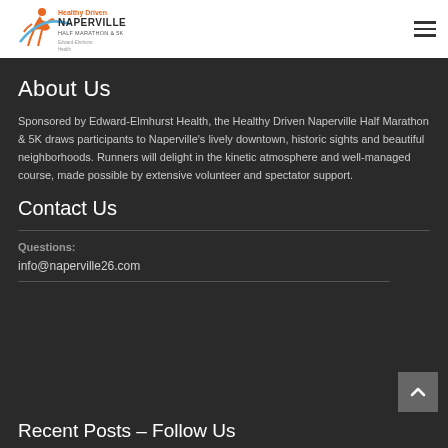[Figure (logo): Healthy Driven Naperville Half Marathon & 5K logo with runner figure and Edward-Elmhurst Health branding]
About Us
Sponsored by Edward-Elmhurst Health, the Healthy Driven Naperville Half Marathon & 5K draws participants to Naperville's lively downtown, historic sights and beautiful neighborhoods. Runners will delight in the kinetic atmosphere and well-managed course, made possible by extensive volunteer and spectator support.
Contact Us
Questions:
info@naperville26.com
Recent Posts – Follow Us